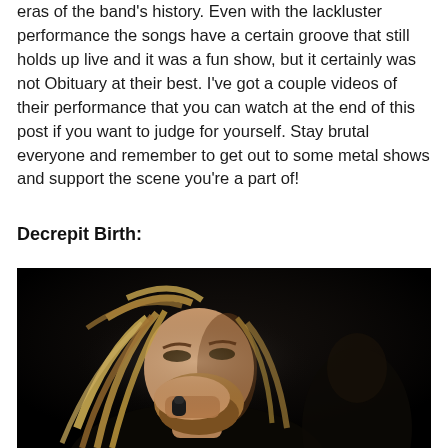eras of the band's history. Even with the lackluster performance the songs have a certain groove that still holds up live and it was a fun show, but it certainly was not Obituary at their best. I've got a couple videos of their performance that you can watch at the end of this post if you want to judge for yourself. Stay brutal everyone and remember to get out to some metal shows and support the scene you're a part of!
Decrepit Birth:
[Figure (photo): A metal vocalist with long dreadlocks performing on stage in the dark, holding a microphone up to his mouth.]